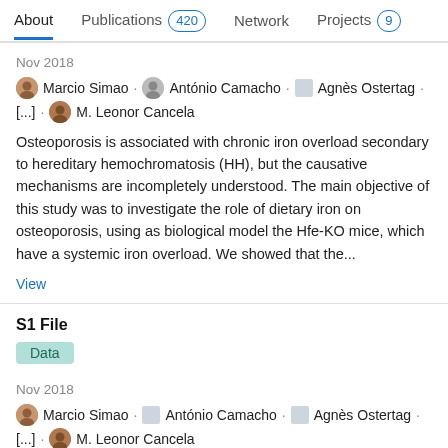About  Publications 420  Network  Projects 9
Nov 2018
Marcio Simao · António Camacho · Agnès Ostertag · [...] · M. Leonor Cancela
Osteoporosis is associated with chronic iron overload secondary to hereditary hemochromatosis (HH), but the causative mechanisms are incompletely understood. The main objective of this study was to investigate the role of dietary iron on osteoporosis, using as biological model the Hfe-KO mice, which have a systemic iron overload. We showed that the...
View
S1 File
Data
Nov 2018
Marcio Simao · António Camacho · Agnès Ostertag · [...] · M. Leonor Cancela
Table A. Primers sequences for gene expression analysis